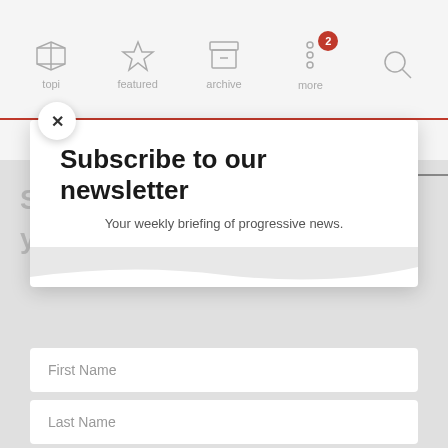[Figure (screenshot): App navigation bar with icons for topics, featured, archive, more (with badge showing 2), and search]
Subscribe to our newsletter
Your weekly briefing of progressive news.
First Name
Last Name
Email
SUBSCRIBE!